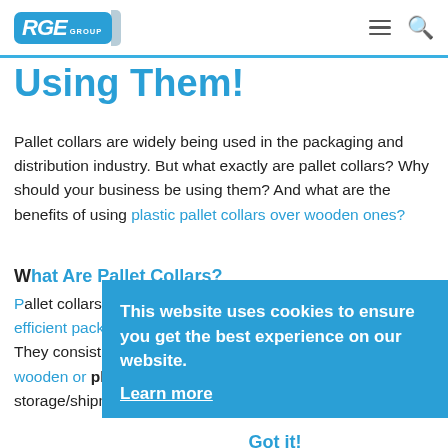[Figure (logo): RGE Group logo — blue rounded rectangle with white italic bold RGE text and small GROUP lettering]
Using Them!
Pallet collars are widely being used in the packaging and distribution industry. But what exactly are pallet collars? Why should your business be using them? And what are the benefits of using plastic pallet collars over wooden ones?
What Are Pallet Collars?
Pallet collars are an accessory to flat pallets, offering a more efficient packaging solution than traditional wooden boxes. They consist of 4-6 panels which are placed on top of wooden or plastic pallets, transforming them into complete storage/shipment containers.
This website uses cookies to ensure you get the best experience on our website.
Learn more
Got it!